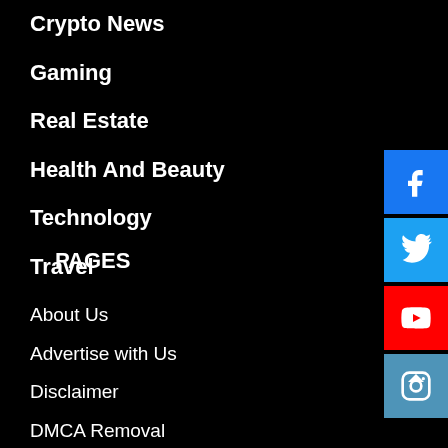Crypto News
Gaming
Real Estate
Health And Beauty
Technology
Travel
PAGES
About Us
Advertise with Us
Disclaimer
DMCA Removal
Privacy Policy
Terms and Conditions
[Figure (infographic): Social media icon buttons for Facebook, Twitter, YouTube, and Instagram on right side]
[Figure (other): Scroll to top arrow button]